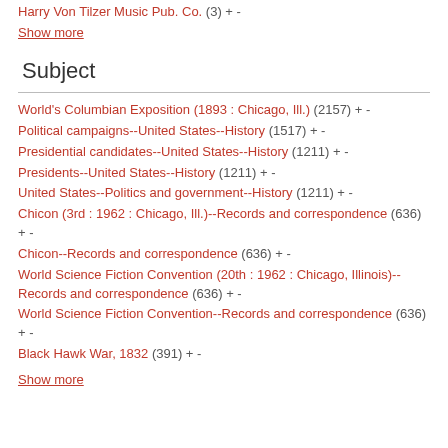Harry Von Tilzer Music Pub. Co. (3) + -
Show more
Subject
World's Columbian Exposition (1893 : Chicago, Ill.) (2157) + -
Political campaigns--United States--History (1517) + -
Presidential candidates--United States--History (1211) + -
Presidents--United States--History (1211) + -
United States--Politics and government--History (1211) + -
Chicon (3rd : 1962 : Chicago, Ill.)--Records and correspondence (636) + -
Chicon--Records and correspondence (636) + -
World Science Fiction Convention (20th : 1962 : Chicago, Illinois)--Records and correspondence (636) + -
World Science Fiction Convention--Records and correspondence (636) + -
Black Hawk War, 1832 (391) + -
Show more